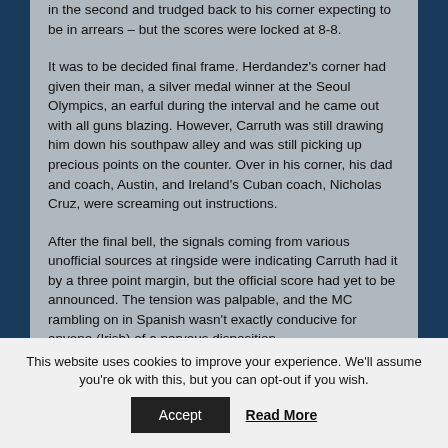in the second and trudged back to his corner expecting to be in arrears – but the scores were locked at 8-8.
It was to be decided final frame. Herdandez's corner had given their man, a silver medal winner at the Seoul Olympics, an earful during the interval and he came out with all guns blazing. However, Carruth was still drawing him down his southpaw alley and was still picking up precious points on the counter. Over in his corner, his dad and coach, Austin, and Ireland's Cuban coach, Nicholas Cruz, were screaming out instructions.
After the final bell, the signals coming from various unofficial sources at ringside were indicating Carruth had it by a three point margin, but the official score had yet to be announced. The tension was palpable, and the MC rambling on in Spanish wasn't exactly conducive for anyone (Irish) of a nervous disposition.
This website uses cookies to improve your experience. We'll assume you're ok with this, but you can opt-out if you wish.